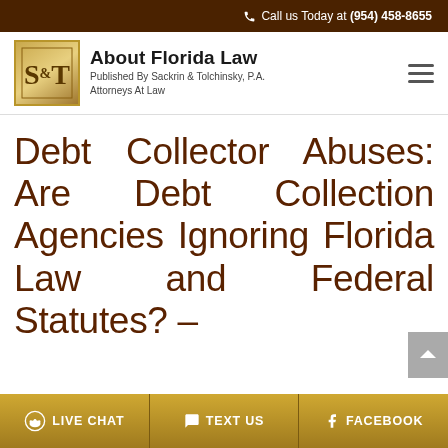Call us Today at (954) 458-8655
[Figure (logo): S&T logo gold square with site title About Florida Law, Published By Sackrin & Tolchinsky, P.A. Attorneys At Law]
Debt Collector Abuses: Are Debt Collection Agencies Ignoring Florida Law and Federal Statutes? –
LIVE CHAT | TEXT US | FACEBOOK